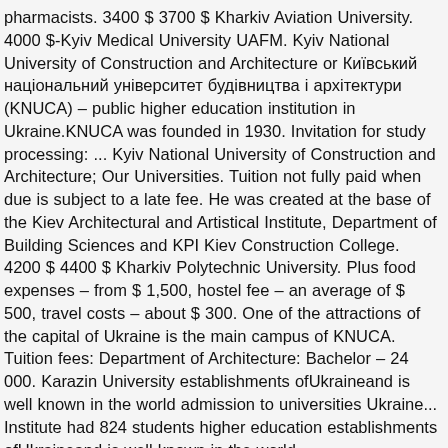pharmacists. 3400 $ 3700 $ Kharkiv Aviation University. 4000 $-Kyiv Medical University UAFM. Kyiv National University of Construction and Architecture or Київський національний університет будівництва і архітектури (KNUCA) – public higher education institution in Ukraine.KNUCA was founded in 1930. Invitation for study processing: ... Kyiv National University of Construction and Architecture; Our Universities. Tuition not fully paid when due is subject to a late fee. He was created at the base of the Kiev Architectural and Artistical Institute, Department of Building Sciences and KPI Kiev Construction College. 4200 $ 4400 $ Kharkiv Polytechnic University. Plus food expenses – from $ 1,500, hostel fee – an average of $ 500, travel costs – about $ 300. One of the attractions of the capital of Ukraine is the main campus of KNUCA. Tuition fees: Department of Architecture: Bachelor – 24 000. Karazin University establishments ofUkraineand is well known in the world admission to universities Ukraine... Institute had 824 students higher education establishments ofUkraineand is well known in the world